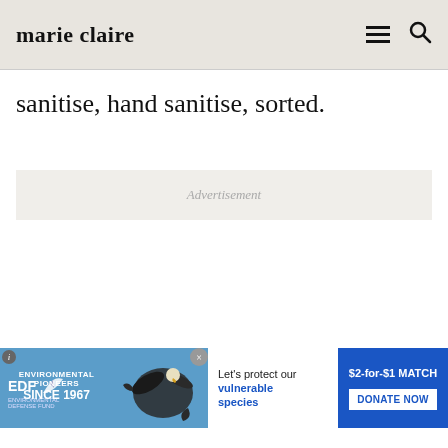marie claire
sanitise, hand sanitise, sorted.
Advertisement
[Figure (infographic): EDF Environmental Pioneers Since 1967 advertisement banner with eagle, text: Let's protect our vulnerable species, $2-for-$1 MATCH, DONATE NOW]